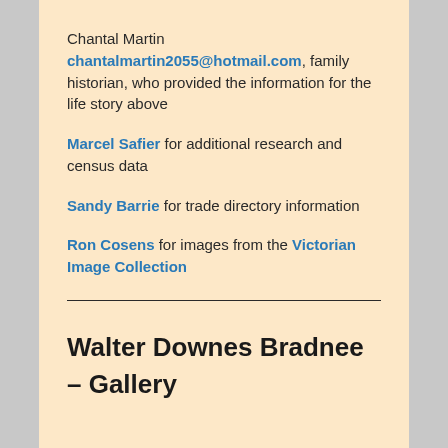Chantal Martin chantalmartin2055@hotmail.com, family historian, who provided the information for the life story above
Marcel Safier for additional research and census data
Sandy Barrie for trade directory information
Ron Cosens for images from the Victorian Image Collection
Walter Downes Bradnee – Gallery